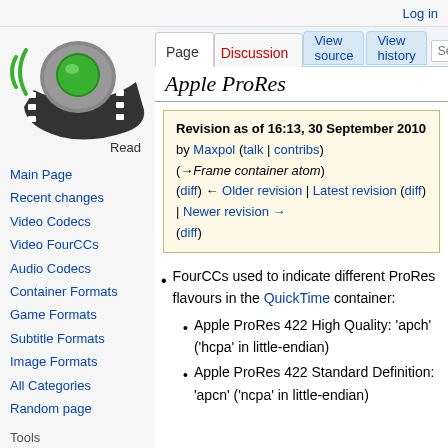Log in
[Figure (logo): MediaInfo wiki logo: green megaphone with film strip, Read label below]
Main Page
Recent changes
Video Codecs
Video FourCCs
Audio Codecs
Container Formats
Game Formats
Subtitle Formats
Image Formats
All Categories
Random page
Tools
What links here
Apple ProRes
Revision as of 16:13, 30 September 2010 by Maxpol (talk | contribs) (→Frame container atom) (diff) ← Older revision | Latest revision (diff) | Newer revision → (diff)
FourCCs used to indicate different ProRes flavours in the QuickTime container:
Apple ProRes 422 High Quality: 'apch' ('hcpa' in little-endian)
Apple ProRes 422 Standard Definition: 'apcn' ('ncpa' in little-endian)